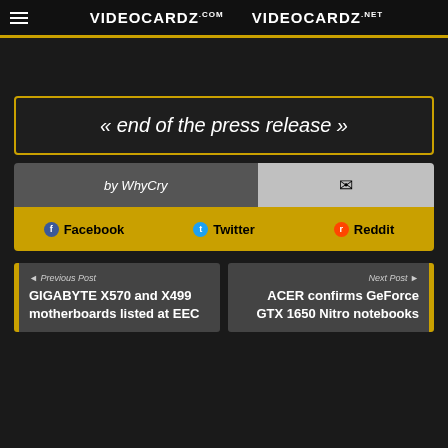VIDEOCARDZ.com   VIDEOCARDZ.net
« end of the press release »
by WhyCry
Facebook   Twitter   Reddit
◄ Previous Post
GIGABYTE X570 and X499 motherboards listed at EEC
Next Post ►
ACER confirms GeForce GTX 1650 Nitro notebooks